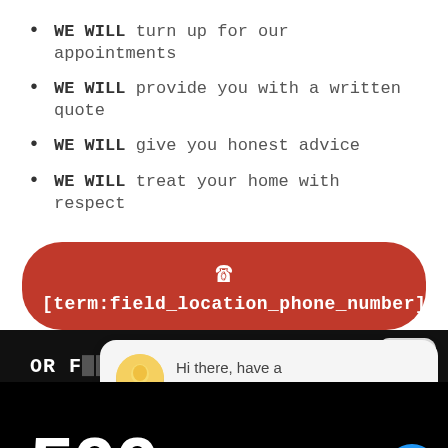WE WILL turn up for our appointments
WE WILL provide you with a written quote
WE WILL give you honest advice
WE WILL treat your home with respect
[Figure (screenshot): Red rounded button with phone icon and text [term:field_location_phone_number]]
[Figure (screenshot): Black section with 'OR' text, chat bubble overlay saying 'Hi there, have a question? Text us here.' with avatar, close button, large white '500' text, and blue chat icon circle]